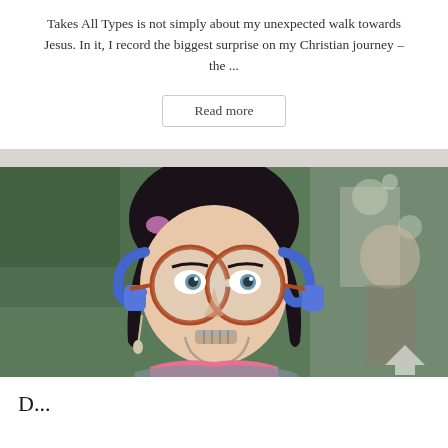Takes All Types is not simply about my unexpected walk towards Jesus. In it, I record the biggest surprise on my Christian journey – the ...
Read more
[Figure (photo): Close-up photo of a young woman with dark hair in braids, wearing large round red-framed glasses with a nose bridge repair, headphones, dangling earrings, and dental braces. She has heavy eye makeup and is wearing a pink top. Background shows a blurred crowd/venue setting.]
D...